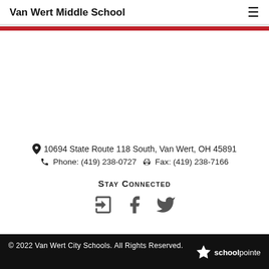Van Wert Middle School
10694 State Route 118 South, Van Wert, OH 45891
Phone: (419) 238-0727  Fax: (419) 238-7166
Stay Connected
[Figure (other): Social media icons: sign-in arrow, Facebook, Twitter]
© 2022 Van Wert City Schools. All Rights Reserved. schoolpointe